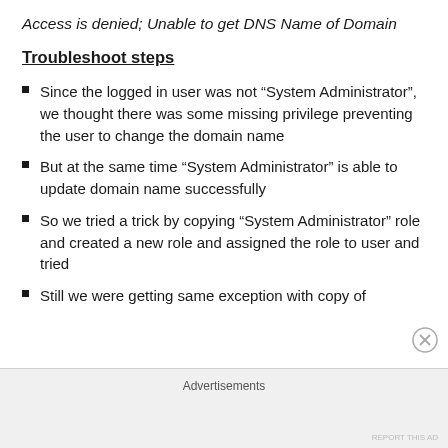Access is denied; Unable to get DNS Name of Domain
Troubleshoot steps
Since the logged in user was not “System Administrator”, we thought there was some missing privilege preventing the user to change the domain name
But at the same time “System Administrator” is able to update domain name successfully
So we tried a trick by copying “System Administrator” role and created a new role and assigned the role to user and tried
Still we were getting same exception with copy of
Advertisements